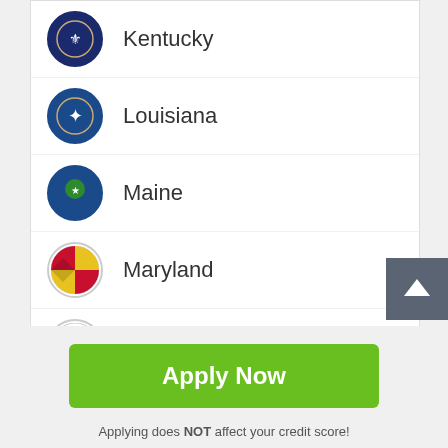Kentucky
Louisiana
Maine
Maryland
Massachusetts
Michigan
Apply Now
Applying does NOT affect your credit score! No credit check to apply.